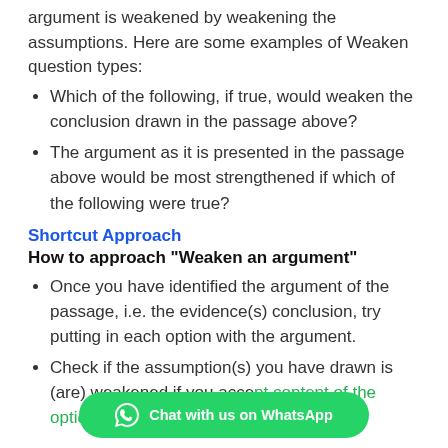argument is weakened by weakening the assumptions. Here are some examples of Weaken question types:
Which of the following, if true, would weaken the conclusion drawn in the passage above?
The argument as it is presented in the passage above would be most strengthened if which of the following were true?
Shortcut Approach
How to approach "Weaken an argument"
Once you have identified the argument of the passage, i.e. the evidence(s) conclusion, try putting in each option with the argument.
Check if the assumption(s) you have drawn is (are) weakened if you accept the content of the options as true.